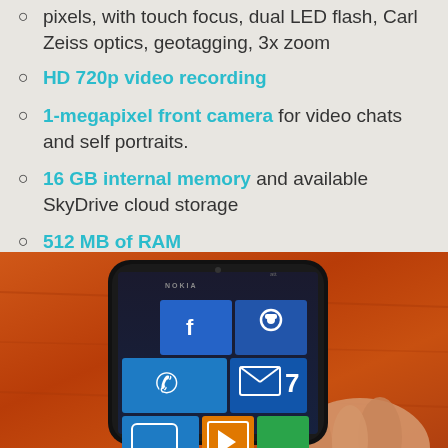pixels, with touch focus, dual LED flash, Carl Zeiss optics, geotagging, 3x zoom
HD 720p video recording
1-megapixel front camera for video chats and self portraits.
16 GB internal memory and available SkyDrive cloud storage
512 MB of RAM
[Figure (photo): A Nokia Lumia smartphone running Windows Phone being held in a hand against an orange/wood background. The screen shows the Windows Phone tile interface with blue, orange, and green tiles including Phone, Facebook, Mail, and Media apps.]